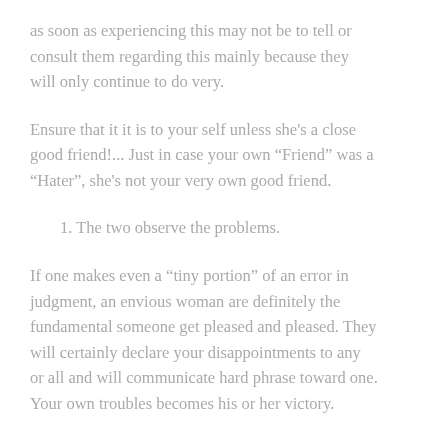as soon as experiencing this may not be to tell or consult them regarding this mainly because they will only continue to do very.
Ensure that it it is to your self unless she's a close good friend!... Just in case your own “Friend” was a “Hater”, she's not your very own good friend.
1. The two observe the problems.
If one makes even a “tiny portion” of an error in judgment, an envious woman are definitely the fundamental someone get pleased and pleased. They will certainly declare your disappointments to any or all and will communicate hard phrase toward one. Your own troubles becomes his or her victory.